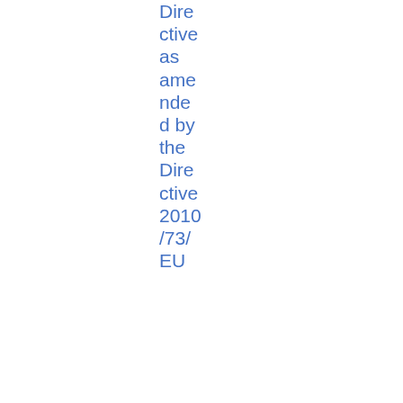Directive as amended by the Directive 2010/73/EU
| Date | Reference | Title | Type | Official Gazette | File |
| --- | --- | --- | --- | --- | --- |
| 05/11/2013 | 2013/1552 | ESMA Comment Letter to the IASB | IAS Regulation | ...ette p... | PDF 167.33 KB |